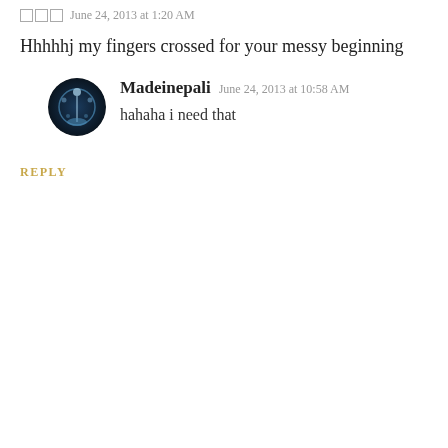□□□  June 24, 2013 at 1:20 AM
Hhhhhj my fingers crossed for your messy beginning
[Figure (photo): Round avatar image with cosmic/space theme]
Madeinepali  June 24, 2013 at 10:58 AM
hahaha i need that
REPLY
[Figure (photo): Default grey user avatar silhouette]
Enter Comment